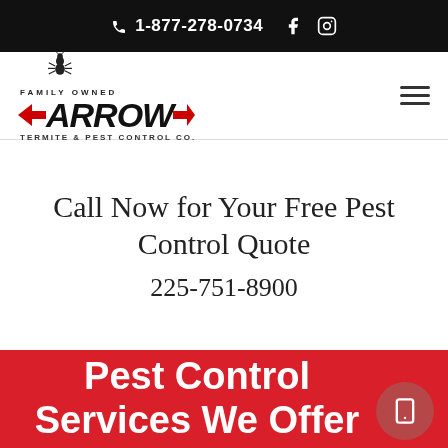1-877-278-0734
[Figure (logo): Arrow Termite & Pest Control Co. logo with ant graphic, red arrows, and 'Family Owned' text]
Call Now for Your Free Pest Control Quote
225-751-8900
Pest Control Services We Offer